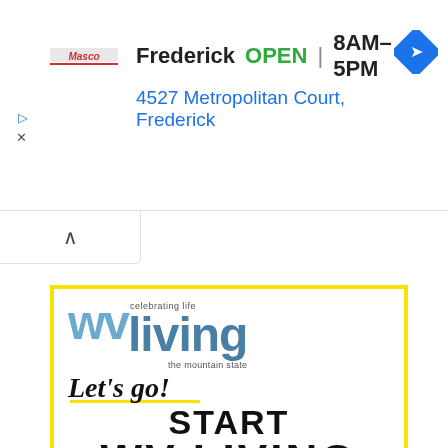[Figure (screenshot): Mobile browser ad bar showing Masco logo, Frederick location with OPEN badge and hours 8AM-5PM, address 4527 Metropolitan Court, Frederick, and a navigation icon]
[Figure (logo): WV Living magazine ad with yellow border showing wv living logo with 'celebrating life' and 'the mountain state' taglines, 'Let's go!' in script font with yellow underline, 'START WV LIVING' in bold black text]